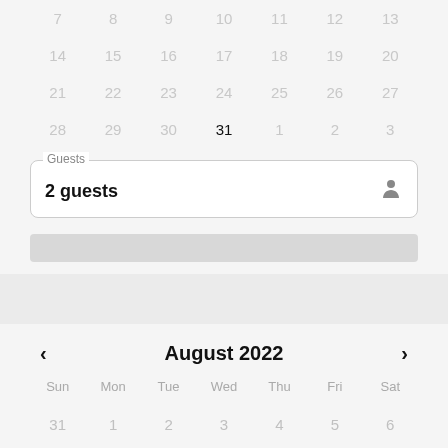[Figure (screenshot): Partial calendar grid showing rows with dates 7-13, 14-20, 21-27, 28-31 and 1-3, with 31 highlighted in black]
Guests
2 guests
[Figure (screenshot): Gray rounded button/bar below guests input]
[Figure (screenshot): Light gray divider strip]
August 2022
Sun Mon Tue Wed Thu Fri Sat
31 1 2 3 4 5 6